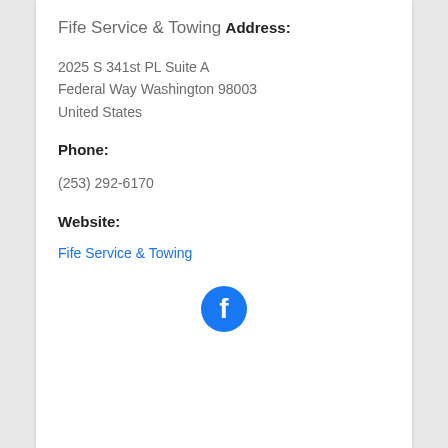Fife Service & Towing
Address:
2025 S 341st PL Suite A
Federal Way Washington 98003
United States
Phone:
(253) 292-6170
Website:
Fife Service & Towing
[Figure (logo): Facebook logo icon — blue circle with white 'f' letter]